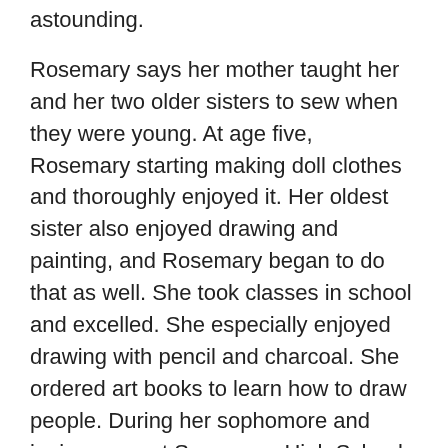astounding.
Rosemary says her mother taught her and her two older sisters to sew when they were young. At age five, Rosemary starting making doll clothes and thoroughly enjoyed it. Her oldest sister also enjoyed drawing and painting, and Rosemary began to do that as well. She took classes in school and excelled. She especially enjoyed drawing with pencil and charcoal. She ordered art books to learn how to draw people. During her sophomore and junior years at Suwannee High School in Live Oak, Florida, she served as vice president of the art club.
Rosemary’s family moved after her junior year, so she completed her high school degree by correspondence. One of the courses was art, and